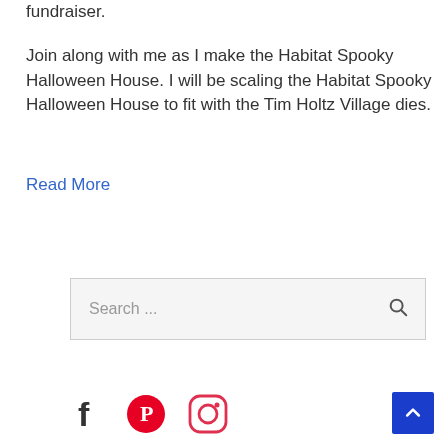fundraiser.
Join along with me as I make the Habitat Spooky Halloween House. I will be scaling the Habitat Spooky Halloween House to fit with the Tim Holtz Village dies.
Read More
[Figure (screenshot): Search box with placeholder text 'Search ...' and a magnifying glass icon on the right]
[Figure (infographic): Social media icons: Facebook (f), Pinterest (P in red circle), Instagram (camera in red circle outline)]
[Figure (other): Blue back-to-top button with white upward chevron arrow in bottom right corner]